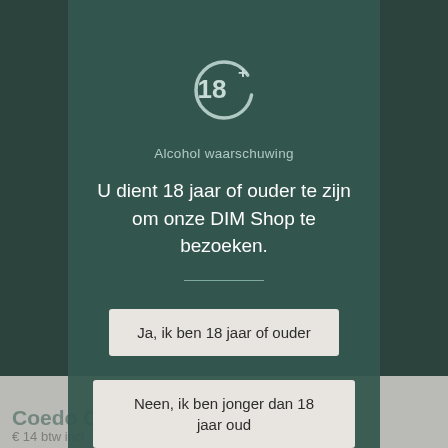[Figure (illustration): 18+ age warning icon: a circle with '18' and a plus sign, in light teal/white on dark teal background]
Alcohol waarschuwing
U dient 18 jaar of ouder te zijn om onze DIM Shop te bezoeken.
Ja, ik ben 18 jaar of ouder
Neen, ik ben jonger dan 18 jaar oud
Coedo Collection
€ 14 btw incl